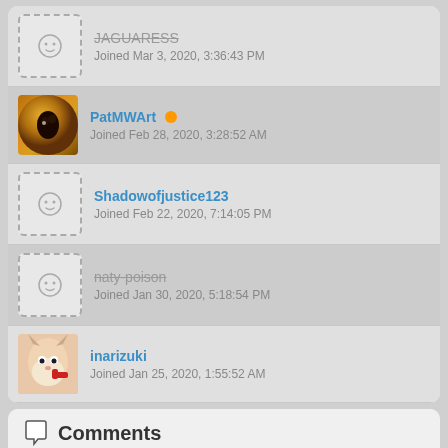JAGUARESS
Joined Mar 3, 2020, 3:36:43 PM
PatMWArt
Joined Feb 28, 2020, 3:28:52 AM
Shadowofjustice123
Joined Feb 22, 2020, 7:14:05 PM
naty-poison
Joined Jan 30, 2020, 5:18:54 PM
inarizuki
Joined Jan 25, 2020, 1:55:52 AM
Comments
Add a Comment: